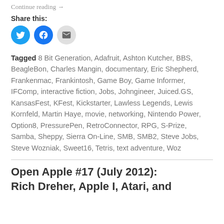Continue reading →
Share this:
[Figure (other): Social share buttons: Twitter (blue circle with bird icon), Facebook (blue circle with f icon), Email (grey circle with envelope icon)]
Tagged 8 Bit Generation, Adafruit, Ashton Kutcher, BBS, BeagleBon, Charles Mangin, documentary, Eric Shepherd, Frankenmac, Frankintosh, Game Boy, Game Informer, IFComp, interactive fiction, Jobs, Johngineer, Juiced.GS, KansasFest, KFest, Kickstarter, Lawless Legends, Lewis Kornfeld, Martin Haye, movie, networking, Nintendo Power, Option8, PressurePen, RetroConnector, RPG, S-Prize, Samba, Sheppy, Sierra On-Line, SMB, SMB2, Steve Jobs, Steve Wozniak, Sweet16, Tetris, text adventure, Woz
Open Apple #17 (July 2012): Rich Dreher, Apple 1, Atari, and